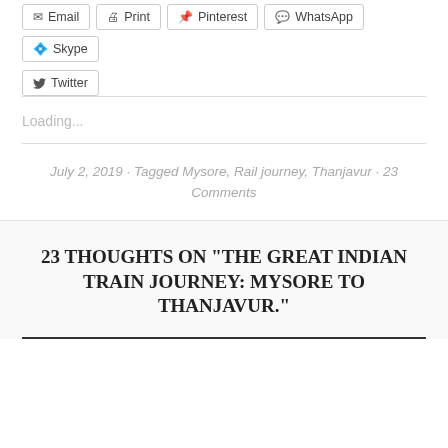Email
Print
Pinterest
WhatsApp
Skype
Twitter
Loading...
July 2, 2019 · Tagged Mysore, Rail journey, Thanjavur · 23 Comments
23 THOUGHTS ON “THE GREAT INDIAN TRAIN JOURNEY: MYSORE TO THANJAVUR.”